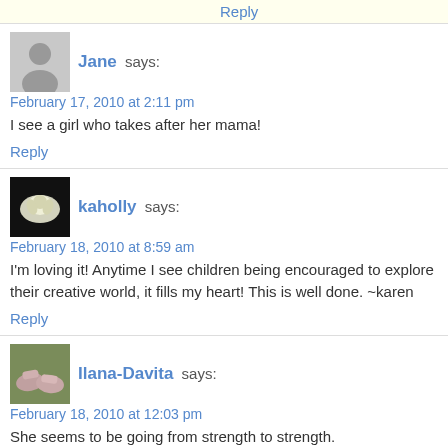Reply
Jane says:
February 17, 2010 at 2:11 pm
I see a girl who takes after her mama!
Reply
kaholly says:
February 18, 2010 at 8:59 am
I'm loving it! Anytime I see children being encouraged to explore their creative world, it fills my heart! This is well done. ~karen
Reply
Ilana-Davita says:
February 18, 2010 at 12:03 pm
She seems to be going from strength to strength. Congratulations!
Reply